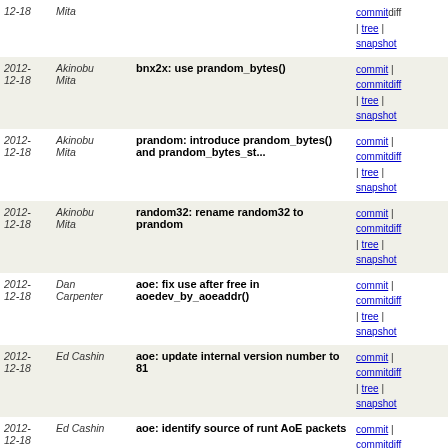| Date | Author | Description | Links |
| --- | --- | --- | --- |
| 2012-12-18 | Mita |  | commit | commitdiff | tree | snapshot |
| 2012-12-18 | Akinobu Mita | bnx2x: use prandom_bytes() | commit | commitdiff | tree | snapshot |
| 2012-12-18 | Akinobu Mita | prandom: introduce prandom_bytes() and prandom_bytes_st... | commit | commitdiff | tree | snapshot |
| 2012-12-18 | Akinobu Mita | random32: rename random32 to prandom | commit | commitdiff | tree | snapshot |
| 2012-12-18 | Dan Carpenter | aoe: fix use after free in aoedev_by_aoeaddr() | commit | commitdiff | tree | snapshot |
| 2012-12-18 | Ed Cashin | aoe: update internal version number to 81 | commit | commitdiff | tree | snapshot |
| 2012-12-18 | Ed Cashin | aoe: identify source of runt AoE packets | commit | commitdiff | tree | snapshot |
| 2012-12-18 | Ed Cashin | aoe: allow comma separator in aoe_iflist value | commit | commitdiff | tree | snapshot |
| 2012-12-18 | Ed Cashin | aoe: allow user to disable target failure timeout | commit | commitdiff | tree | snapshot |
| 2012-12-18 | Ed Cashin | aoe: use dynamic number of remote ports for AoE storage... | commit | commitdiff | tree | snapshot |
| 2012-12-18 | Ed Cashin | aoe: avoid races between device destruction and discovery | commit | commitdiff | tree | snapshot |